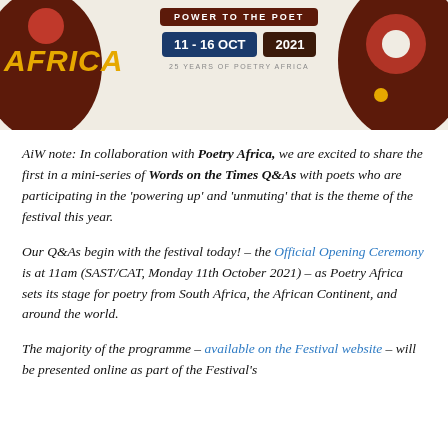[Figure (illustration): Poetry Africa festival banner: dark brown/chocolate circle on left with stylized graphic, 'AFRICA' text in gold italic, center shows 'POWER TO THE POET' badge in dark brown, '11 - 16 OCT' in blue badge and '2021' in dark brown badge, small text '25 years of Poetry Africa', dark brown circle on right with decorative elements. Background is light cream/beige.]
AiW note: In collaboration with Poetry Africa, we are excited to share the first in a mini-series of Words on the Times Q&As with poets who are participating in the 'powering up' and 'unmuting' that is the theme of the festival this year.
Our Q&As begin with the festival today! – the Official Opening Ceremony is at 11am (SAST/CAT, Monday 11th October 2021) – as Poetry Africa sets its stage for poetry from South Africa, the African Continent, and around the world.
The majority of the programme – available on the Festival website – will be presented online as part of the Festival's